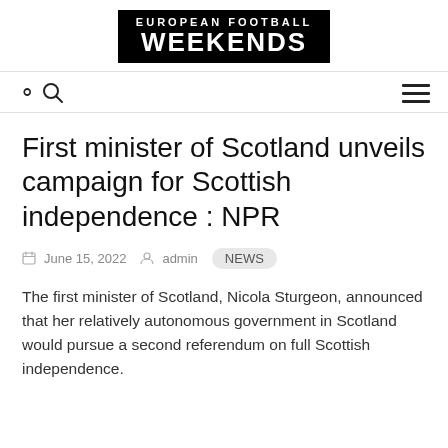EUROPEAN FOOTBALL WEEKENDS
First minister of Scotland unveils campaign for Scottish independence : NPR
June 15, 2022  admin  NEWS
The first minister of Scotland, Nicola Sturgeon, announced that her relatively autonomous government in Scotland would pursue a second referendum on full Scottish independence.